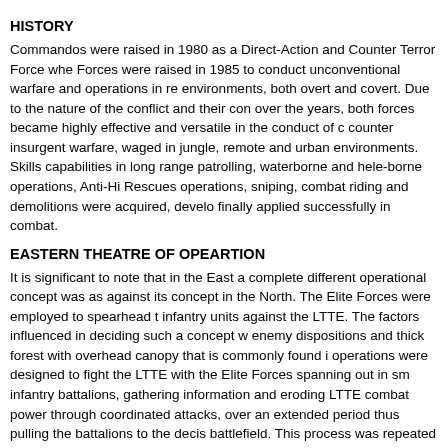HISTORY
Commandos were raised in 1980 as a Direct-Action and Counter Terror Force when Forces were raised in 1985 to conduct unconventional warfare and operations in re environments, both overt and covert. Due to the nature of the conflict and their con over the years, both forces became highly effective and versatile in the conduct of counter insurgent warfare, waged in jungle, remote and urban environments. Skills capabilities in long range patrolling, waterborne and hele-borne operations, Anti-Hi Rescues operations, sniping, combat riding and demolitions were acquired, develo finally applied successfully in combat.
EASTERN THEATRE OF OPEARTION
It is significant to note that in the East a complete different operational concept was as against its concept in the North. The Elite Forces were employed to spearhead infantry units against the LTTE. The factors influenced in deciding such a concept enemy dispositions and thick forest with overhead canopy that is commonly found operations were designed to fight the LTTE with the Elite Forces spanning out in s infantry battalions, gathering information and eroding LTTE combat power through coordinated attacks, over an extended period thus pulling the battalions to the dec battlefield. This process was repeated in stages. By applying this design the milit Eastern theatre were conducted in two phases; phase one was to capture the LTT north of the Polonnaruwa-Batticaloa road by Special Forces affiliated with some in the phase two was to capture the LTTE-controlled areas south of that road by Com some infantry units.
NORTHERN THEATRE OF OPEARTION
When the humanitarian operations were extended to the North, the Elite Forces we operate across the entire width and depth of the Wanni (Northern) operational the ranged from long range patrols to small group operations behind enemy lines, stri rescue operations and conventional operations to unconventional operations. Whi conducted strategically important operations deep into enemy territory such as goi